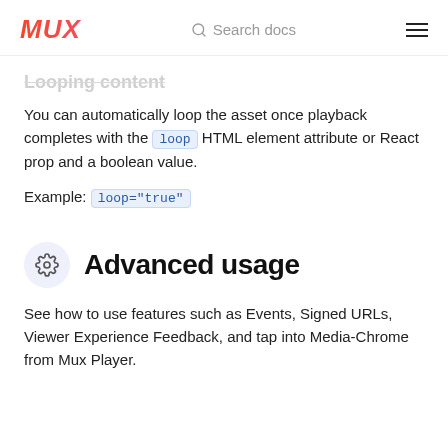MUX  Search docs
Looping content
You can automatically loop the asset once playback completes with the loop HTML element attribute or React prop and a boolean value.
Example: loop="true"
Advanced usage
See how to use features such as Events, Signed URLs, Viewer Experience Feedback, and tap into Media-Chrome from Mux Player.